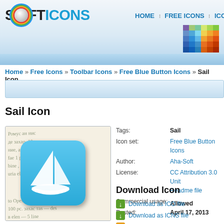[Figure (screenshot): Softicons website header with logo showing S(ball)FTICONS, navigation links HOME, FREE ICONS, ICON T, and a colorful mosaic graphic]
Home » Free Icons » Toolbar Icons » Free Blue Button Icons » Sail Icon
[Figure (screenshot): Search bar area with light blue gradient background]
Sail Icon
[Figure (illustration): Icon preview showing a blue rounded square sailboat icon on a handwritten letter background]
| Tags: | Sail |
| Icon set: | Free Blue Button Icons |
| Author: | Aha-Soft |
| License: | CC Attribution 3.0 Unite Readme file |
| Commercial usage: | Allowed |
| Posted: | April 17, 2013 |
Download Icon
Download as ICO file
Download as ICNS file
Use as aim buddy icon